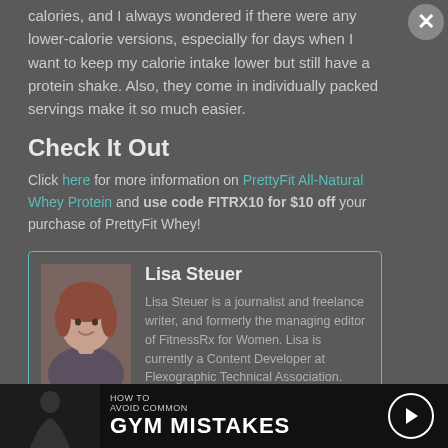calories, and I always wondered if there were any lower-calorie versions, especially for days when I want to keep my calorie intake lower but still have a protein shake. Also, they come in individually packed servings make it so much easier.
Check It Out
Click here for more information on PrettyFit All-Natural Whey Protein and use code FITRX10 for $10 off your purchase of PrettyFit Whey!
[Figure (photo): Headshot photo of Lisa Steuer]
Lisa Steuer
Lisa Steuer is a journalist and freelance writer, and formerly the managing editor of FitnessRx for Women. Lisa is currently a Content Developer at Flexographic Technical Association.
MORE LIKE THIS
[Figure (screenshot): Video banner: HOW TO AVOID COMMON GYM MISTAKES with play button]